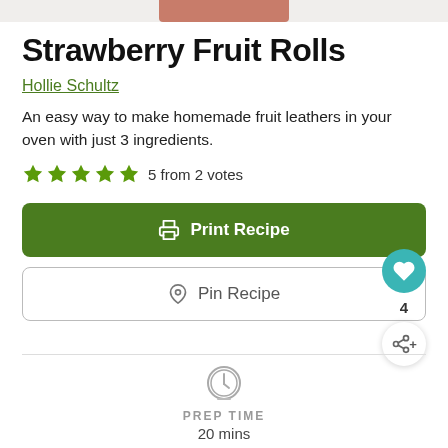[Figure (photo): Partial photo of strawberry fruit rolls at top of page]
Strawberry Fruit Rolls
Hollie Schultz
An easy way to make homemade fruit leathers in your oven with just 3 ingredients.
5 from 2 votes
Print Recipe
Pin Recipe
PREP TIME
20 mins